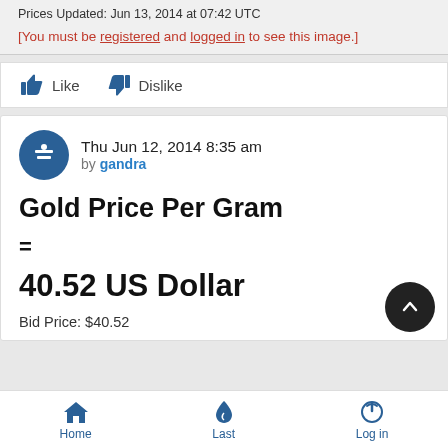Prices Updated: Jun 13, 2014 at 07:42 UTC
[You must be registered and logged in to see this image.]
Like   Dislike
Thu Jun 12, 2014 8:35 am by gandra
Gold Price Per Gram
=
40.52 US Dollar
Bid Price: $40.52